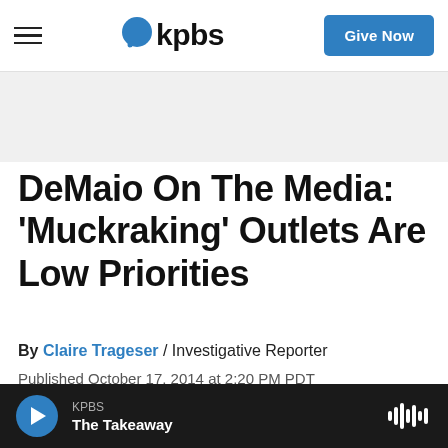KPBS | Give Now
DeMaio On The Media: 'Muckraking' Outlets Are Low Priorities
By Claire Trageser / Investigative Reporter
Published October 17, 2014 at 2:20 PM PDT
KPBS The Takeaway